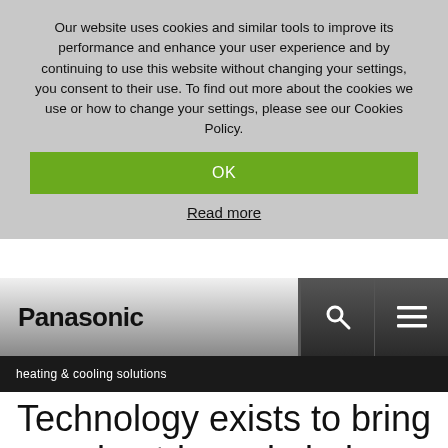Our website uses cookies and similar tools to improve its performance and enhance your user experience and by continuing to use this website without changing your settings, you consent to their use. To find out more about the cookies we use or how to change your settings, please see our Cookies Policy.
OK
Read more
[Figure (logo): Panasonic logo in navigation bar with dark gradient background, search and menu icons]
heating & cooling solutions
Technology exists to bring good outdoor air, indoors